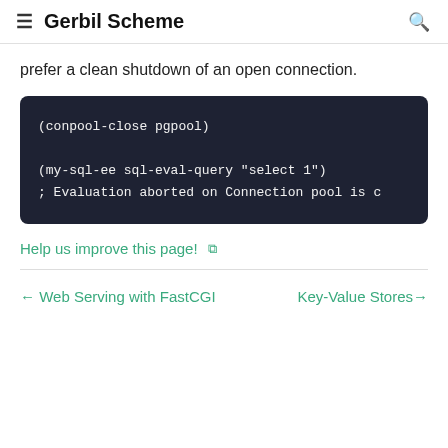≡  Gerbil Scheme  🔍
prefer a clean shutdown of an open connection.
(conpool-close pgpool)

(my-sql-ee sql-eval-query "select 1")
; Evaluation aborted on Connection pool is c
Help us improve this page! ↗
← Web Serving with FastCGI    Key-Value Stores →